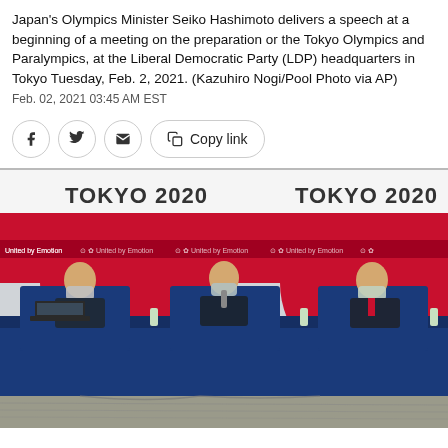Japan's Olympics Minister Seiko Hashimoto delivers a speech at a beginning of a meeting on the preparation or the Tokyo Olympics and Paralympics, at the Liberal Democratic Party (LDP) headquarters in Tokyo Tuesday, Feb. 2, 2021. (Kazuhiro Nogi/Pool Photo via AP)
Feb. 02, 2021 03:45 AM EST
[Figure (photo): Three officials wearing masks sit behind a blue-draped table at a press conference with Tokyo 2020 Olympic banners in the background. The banner reads 'TOKYO 2020' and 'United by Emotion' repeated multiple times.]